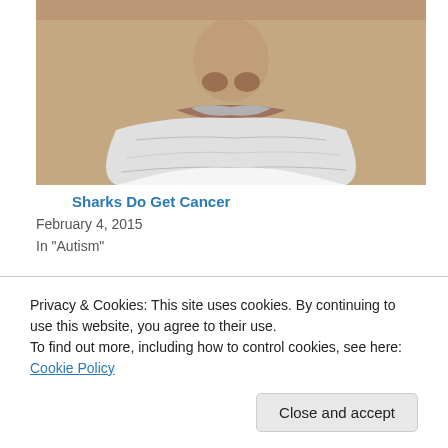[Figure (photo): Close-up photo of an elderly man's face with white/gray beard, cropped at nose and chin level]
Sharks Do Get Cancer
February 4, 2015
In "Autism"
[Figure (photo): Photo of a young man making a Vulcan hand gesture, sitting on a couch, with bookshelves in the background — appears to be from a TV show]
Privacy & Cookies: This site uses cookies. By continuing to use this website, you agree to their use.
To find out more, including how to control cookies, see here: Cookie Policy